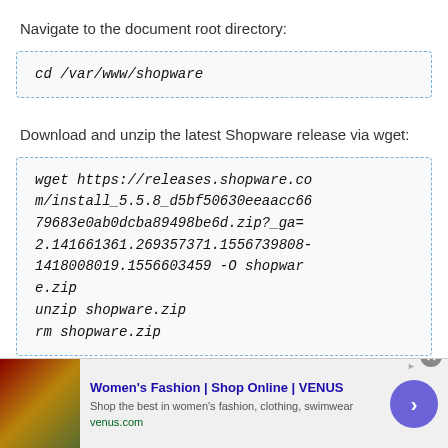Navigate to the document root directory:
Download and unzip the latest Shopware release via wget:
[Figure (other): Advertisement banner for VENUS Women's Fashion online shop]